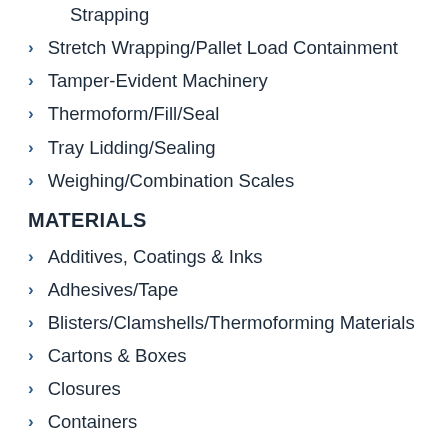Strapping
Stretch Wrapping/Pallet Load Containment
Tamper-Evident Machinery
Thermoform/Fill/Seal
Tray Lidding/Sealing
Weighing/Combination Scales
MATERIALS
Additives, Coatings & Inks
Adhesives/Tape
Blisters/Clamshells/Thermoforming Materials
Cartons & Boxes
Closures
Containers
Flexible Packaging
Labels